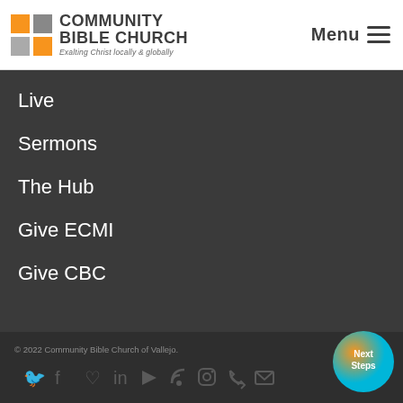[Figure (logo): Community Bible Church logo with colored grid icon squares (orange, gray) and church name in bold gray text, tagline 'Exalting Christ locally & globally']
Menu ☰
Live
Sermons
The Hub
Give ECMI
Give CBC
© 2022 Community Bible Church of Vallejo.
[Figure (infographic): Social media icons row: Twitter, Facebook, Meetup/heart, LinkedIn, YouTube, RSS, Instagram, Phone, Mail]
[Figure (other): Next Steps circular button with orange and cyan gradient]